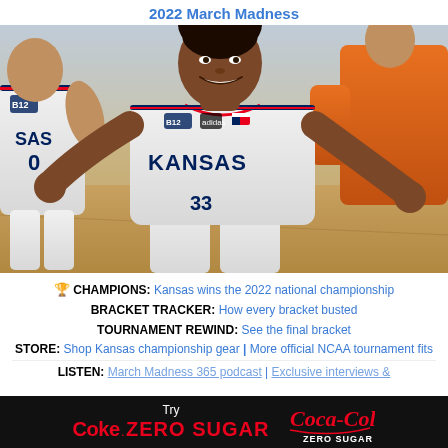2022 March Madness
[Figure (photo): Kansas basketball player wearing white Kansas jersey number 33 celebrating during 2022 March Madness tournament game, with teammate in white Kansas jersey on left and opponent in orange jersey in background, on hardwood court floor]
🏆 CHAMPIONS: Kansas wins the 2022 national championship
BRACKET TRACKER: How every bracket busted
TOURNAMENT REWIND: See the final bracket
STORE: Shop Kansas championship gear | More official NCAA tournament fits
LISTEN: March Madness 365 podcast | Exclusive interviews &
[Figure (logo): Coca-Cola Zero Sugar advertisement banner on black background with red Coke Zero Sugar text and Coca-Cola Zero Sugar logo]